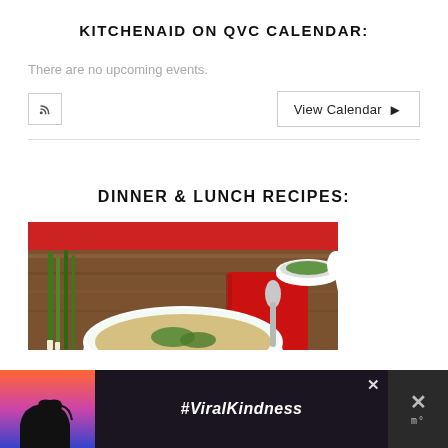KITCHENAID ON QVC CALENDAR:
There are no upcoming events.
View Calendar →
DINNER & LUNCH RECIPES:
[Figure (photo): Overhead view of a bowl of soup/broth with greens, green onions, a small white bowl with greens and a spoon, served on a wooden board with a red cloth napkin and spoon.]
[Figure (photo): Advertisement banner with #ViralKindness text, hands forming a heart shape silhouette against a colorful sky.]